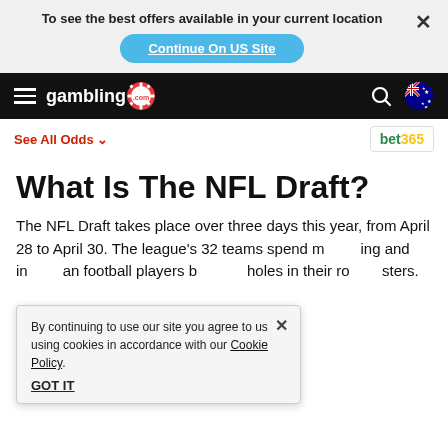To see the best offers available in your current location
Continue On US Site
[Figure (logo): gambling.com logo with poker chip, navigation bar with hamburger menu, search icon, and Australian flag]
See All Odds ∨
[Figure (logo): bet365 logo]
What Is The NFL Draft?
The NFL Draft takes place over three days this year, from April 28 to April 30. The league's 32 teams spend m[...]ing and in[...]an football players b[...]holes in their rosters.
By continuing to use our site you agree to us using cookies in accordance with our Cookie Policy.
GOT IT